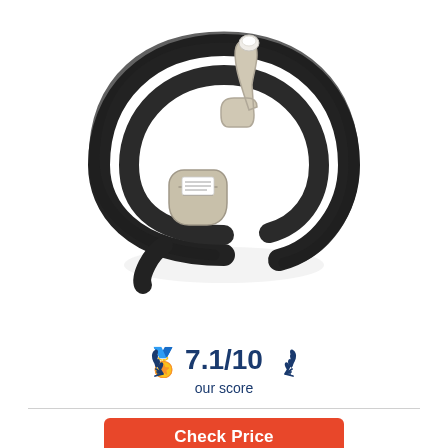[Figure (photo): A coiled black rubber dishwasher drain hose with a beige/white curved plastic connector piece attached, coiled in a circular shape. A small white label tag is visible on the connector.]
7.1/10
our score
Check Price